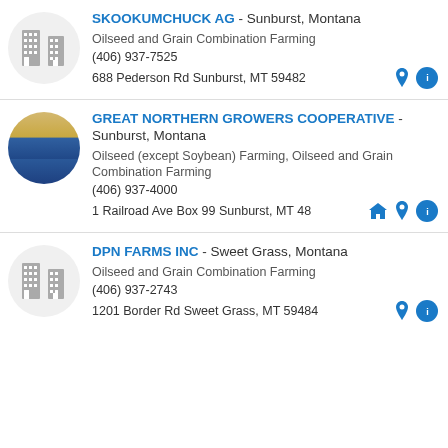SKOOKUMCHUCK AG - Sunburst, Montana
Oilseed and Grain Combination Farming
(406) 937-7525
688 Pederson Rd Sunburst, MT 59482
GREAT NORTHERN GROWERS COOPERATIVE - Sunburst, Montana
Oilseed (except Soybean) Farming, Oilseed and Grain Combination Farming
(406) 937-4000
1 Railroad Ave Box 99 Sunburst, MT 48
DPN FARMS INC - Sweet Grass, Montana
Oilseed and Grain Combination Farming
(406) 937-2743
1201 Border Rd Sweet Grass, MT 59484